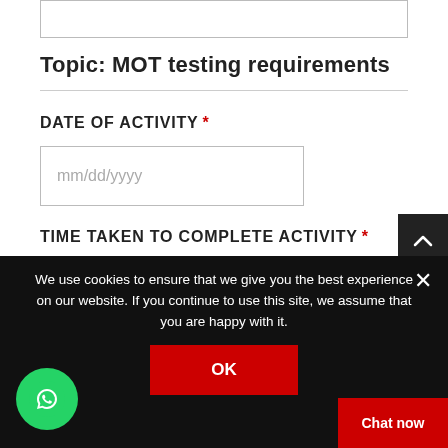(partial input box from previous section)
Topic: MOT testing requirements
DATE OF ACTIVITY *
mm/dd/yyyy
TIME TAKEN TO COMPLETE ACTIVITY *
0 : 0
We use cookies to ensure that we give you the best experience on our website. If you continue to use this site, we assume that you are happy with it.